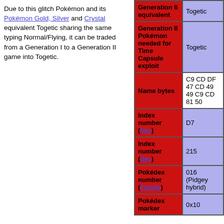Due to this glitch Pokémon and its Pokémon Gold, Silver and Crystal equivalent Togetic sharing the same typing Normal/Flying, it can be traded from a Generation I to a Generation II game into Togetic.
| Property | Value |
| --- | --- |
| Generation II equivalent | Togetic |
| Generation II Pokémon needed for Time Capsule exploit | Togetic |
| Name bytes | C9 CD DF 47 CD 49 49 C9 CD 81 50 |
| Index number (hex) | D7 |
| Index number (dec) | 215 |
| Pokédex number (Family) | 016 (Pidgey hybrid) |
| Pokédex marker | 0x10 |